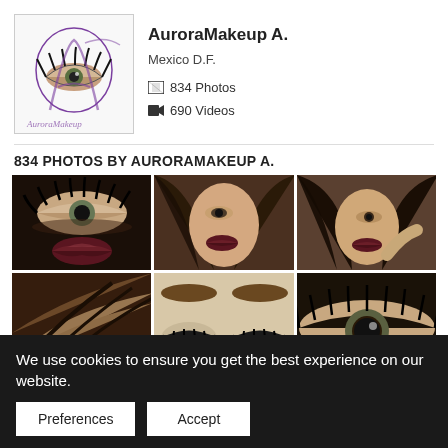[Figure (logo): AuroraMakeup logo with decorative script letter A and eye with lashes illustration in purple]
AuroraMakeup A.
Mexico D.F.
📷 834 Photos
🎥 690 Videos
834 PHOTOS BY AURORAMAKEUP A.
[Figure (photo): Close-up of eye with dramatic lashes and dark red lips makeup]
[Figure (photo): Woman with long hair and dark red lip makeup, face shot]
[Figure (photo): Woman with long dark hair and dark lip makeup, face shot]
[Figure (photo): Partial view of hair and skin]
[Figure (photo): Eyebrow and eye lash closeup collage]
[Figure (photo): Eye closeup with lashes]
We use cookies to ensure you get the best experience on our website.
Preferences
Accept